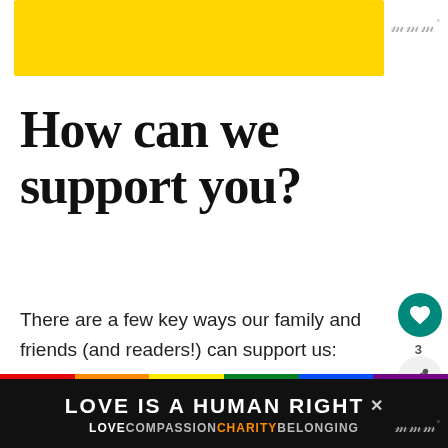[Figure (other): Yellow advertisement banner at the top of the page]
How can we support you?
There are a few key ways our family and friends (and readers!) can support us:
Learn more about adoption and positive adoption language – Adoption
[Figure (other): Love is a Human Right advertisement banner with rainbow colors at bottom. Text: LOVE IS A HUMAN RIGHT / LOVE COMPASSION CHARITY BELONGING]